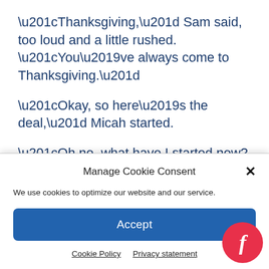“Thanksgiving,” Sam said, too loud and a little rushed. “You’ve always come to Thanksgiving.”
“Okay, so here’s the deal,” Micah started.
“Oh no, what have I started now?”
“No, really, this is a good one. I do like
Manage Cookie Consent
We use cookies to optimize our website and our service.
Accept
Cookie Policy   Privacy statement